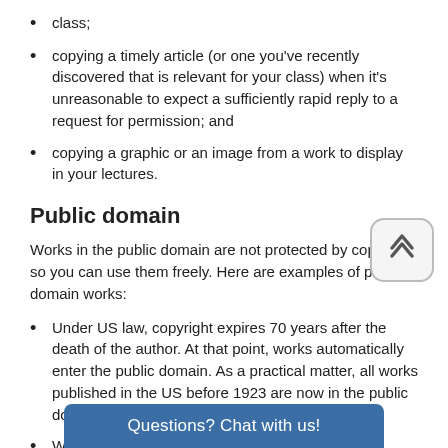class;
copying a timely article (or one you've recently discovered that is relevant for your class) when it's unreasonable to expect a sufficiently rapid reply to a request for permission; and
copying a graphic or an image from a work to display in your lectures.
Public domain
Works in the public domain are not protected by copyright, so you can use them freely. Here are examples of public domain works:
Under US law, copyright expires 70 years after the death of the author. At that point, works automatically enter the public domain. As a practical matter, all works published in the US before 1923 are now in the public domain.
Works by the US Government or created by its employees as part of their job are in the public domain. Note, however, that this does not apply to most works by federal grant recipients…